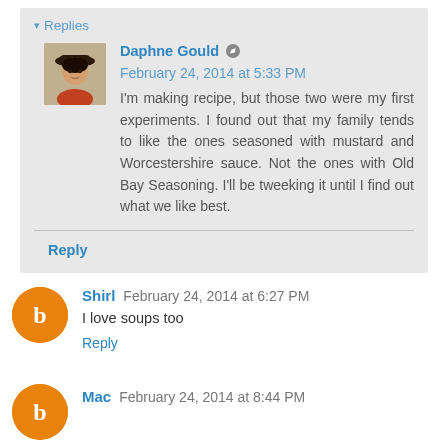Replies
Daphne Gould   February 24, 2014 at 5:33 PM
I'm making recipe, but those two were my first experiments. I found out that my family tends to like the ones seasoned with mustard and Worcestershire sauce. Not the ones with Old Bay Seasoning. I'll be tweeking it until I find out what we like best.
Reply
Shirl   February 24, 2014 at 6:27 PM
I love soups too
Reply
Mac   February 24, 2014 at 8:44 PM